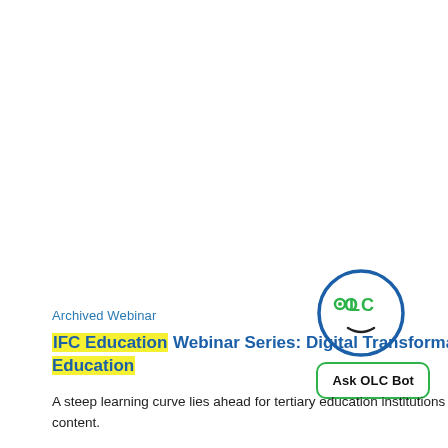Archived Webinar
IFC Education Webinar Series: Digital Transformation in Global Higher Education
A steep learning curve lies ahead for tertiary education institutions as they seek to expand their digital content.
[Figure (logo): OLC Bot logo: a circular face with OLC text inside, and an 'Ask OLC Bot' button below]